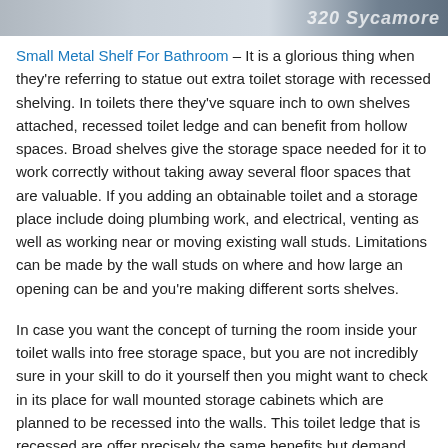[Figure (photo): Partial photo strip at the top of the page showing a bathroom scene with a watermark text '320 Sycamore']
Small Metal Shelf For Bathroom – It is a glorious thing when they're referring to statue out extra toilet storage with recessed shelving. In toilets there they've square inch to own shelves attached, recessed toilet ledge and can benefit from hollow spaces. Broad shelves give the storage space needed for it to work correctly without taking away several floor spaces that are valuable. If you adding an obtainable toilet and a storage place include doing plumbing work, and electrical, venting as well as working near or moving existing wall studs. Limitations can be made by the wall studs on where and how large an opening can be and you're making different sorts shelves.
In case you want the concept of turning the room inside your toilet walls into free storage space, but you are not incredibly sure in your skill to do it yourself then you might want to check in its place for wall mounted storage cabinets which are planned to be recessed into the walls. This toilet ledge that is recessed are offer precisely the same benefits but demand finishing work that is a great deal less, so they're a little more merciful. Wall hung cupboards could be either